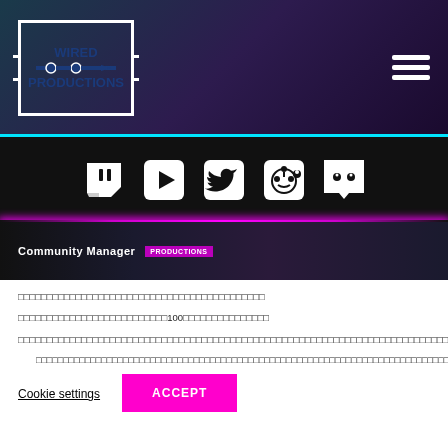[Figure (logo): Wired Productions logo - white bordered rectangle with circuit-style connector symbol and blue text]
[Figure (infographic): Social media icons bar showing Twitch, YouTube, Twitter, Reddit, and Discord icons in white on black background]
[Figure (screenshot): Community Manager strip image with Productions badge]
□□□□□□□□□□□□□□□□□□□□□□□□□□□□□□□□□□□□□□□□□□□
□□□□□□□□□□□□□□□□□□□□□□□□□□100□□□□□□□□□□□□□□□
□□□□□□□□□□□□□□□□□□□□□□□□□□□□□□□□□□□□□□□□□□□□□□□□□□□□□□□□□□□□□□□□□□□□□□□□□□□□□□□□□□□□□□□□□□□□□□□□□□□□□□□□□□□□□□□□□□□□□□□□□□□□□□□□□□□□□□□□□□□□□□□□□□□□□□□□□□□□□□□□□□□□□□□□□□□□□□□□□□□□□□□□□□□□□□□□□□□□□□□□□□□□□□□□
□□□□□□□□□□□□□□□□□□□□□□□□□□□□□□□□□□□□□□□□□□□□□□□□□□□□□□□□□□□□□□□□□□□□□□□□□□□□□□□□□□□□□□□□□□□□□□□□□□□□□□□□□□□□□□□□□□□□□□□□□□□□□□□□□□□□□□□□□□□□□□□□□□□□□□□□□□□□□□□□□□□□□□□□□□□□□□□□□□□□□□□□□□□□□□□□□□□□□□□□□□□□□
Cookie settings
ACCEPT